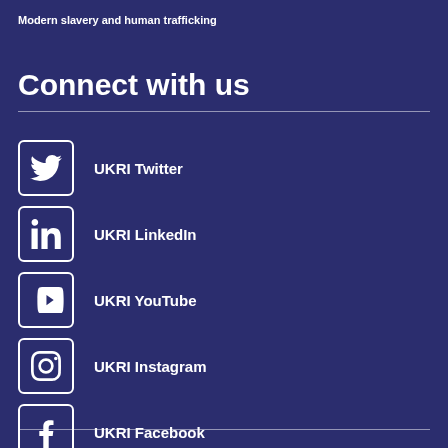Modern slavery and human trafficking
Connect with us
UKRI Twitter
UKRI LinkedIn
UKRI YouTube
UKRI Instagram
UKRI Facebook
UKRI Medium